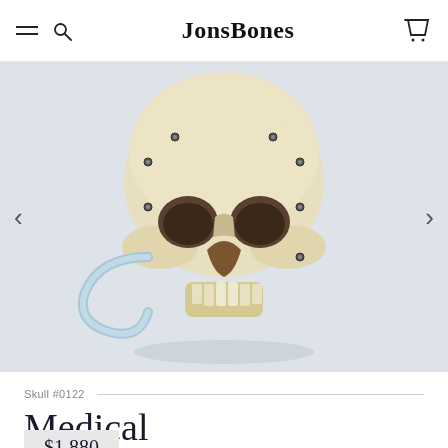JonsBones
[Figure (photo): A human medical skull with metal pins/screws, a light blue rubber band/tube attached, photographed from the front against a light gray-blue background.]
Skull #0122
Medical Skull (0122)
$1,880